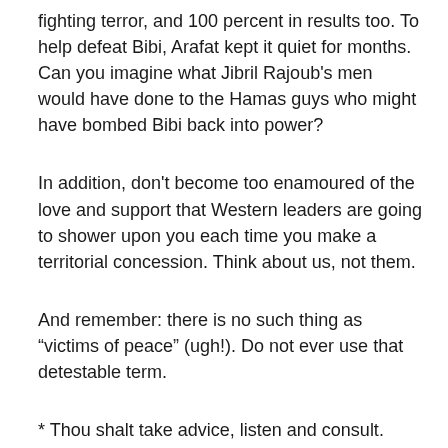fighting terror, and 100 percent in results too. To help defeat Bibi, Arafat kept it quiet for months. Can you imagine what Jibril Rajoub's men would have done to the Hamas guys who might have bombed Bibi back into power?
In addition, don't become too enamoured of the love and support that Western leaders are going to shower upon you each time you make a territorial concession. Think about us, not them.
And remember: there is no such thing as “victims of peace” (ugh!). Do not ever use that detestable term.
* Thou shalt take advice, listen and consult. Netanyahu often disregarded the counsel of his security and intelligence chiefs — if and when he bothered to meet with them. Nor did he much value the advice of friends (– friends?) and political partners. It brought him down. Think and emulate J.F.